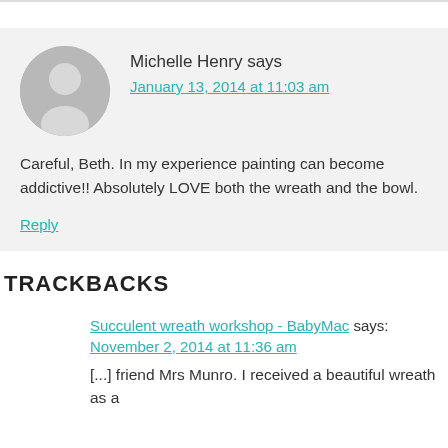[Figure (illustration): Gray circular avatar placeholder icon with a silhouette of a person]
Michelle Henry says
January 13, 2014 at 11:03 am
Careful, Beth. In my experience painting can become addictive!! Absolutely LOVE both the wreath and the bowl.
Reply
TRACKBACKS
Succulent wreath workshop - BabyMac says:
November 2, 2014 at 11:36 am
[...] friend Mrs Munro. I received a beautiful wreath as a